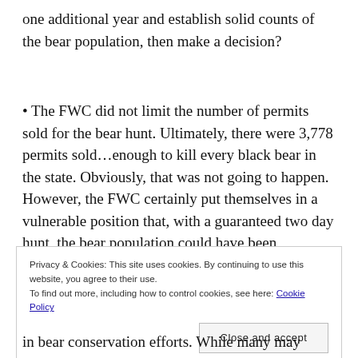one additional year and establish solid counts of the bear population, then make a decision?
• The FWC did not limit the number of permits sold for the bear hunt. Ultimately, there were 3,778 permits sold…enough to kill every black bear in the state. Obviously, that was not going to happen. However, the FWC certainly put themselves in a vulnerable position that, with a guaranteed two day hunt, the bear population could have been decimated beyond recovery.
Privacy & Cookies: This site uses cookies. By continuing to use this website, you agree to their use. To find out more, including how to control cookies, see here: Cookie Policy
in bear conservation efforts. While many may believe